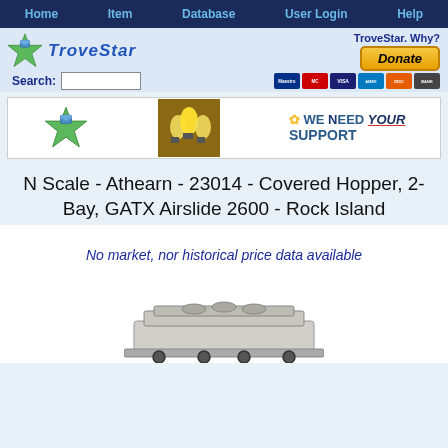Home | Item | Database | User Login | Help
[Figure (logo): TroveStar logo with green star and text, search box, donate button with payment icons, and TroveStar Why? text]
[Figure (infographic): Banner with TroveStar logo, light bulbs image, and 'We Need YOUR Support' text]
N Scale - Athearn - 23014 - Covered Hopper, 2-Bay, GATX Airslide 2600 - Rock Island
No market, nor historical price data available
[Figure (photo): Model train covered hopper product photo, partially visible at bottom of page]